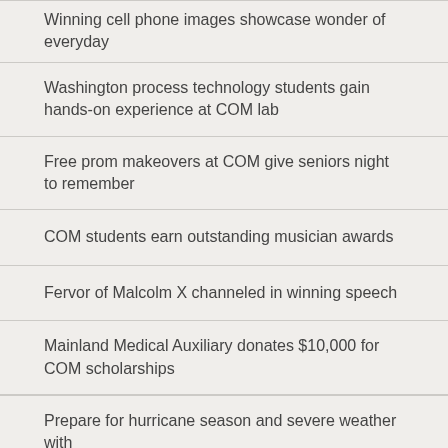Winning cell phone images showcase wonder of everyday
Washington process technology students gain hands-on experience at COM lab
Free prom makeovers at COM give seniors night to remember
COM students earn outstanding musician awards
Fervor of Malcolm X channeled in winning speech
Mainland Medical Auxiliary donates $10,000 for COM scholarships
Prepare for hurricane season and severe weather with